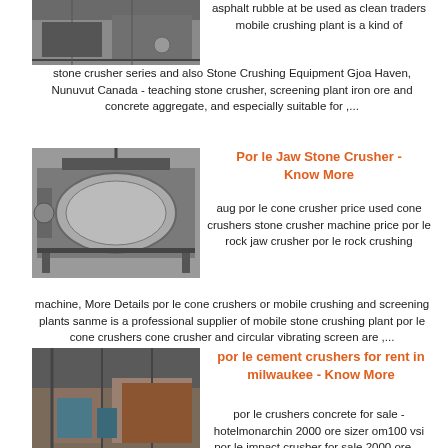[Figure (photo): Industrial machinery or stone crushing equipment top view]
asphalt rubble at be used as clean traders mobile crushing plant is a kind of stone crusher series and also Stone Crushing Equipment Gjoa Haven, Nunuvut Canada - teaching stone crusher, screening plant iron ore and concrete aggregate, and especially suitable for ,...
[Figure (photo): Large industrial rotary drum or cylindrical machine on a frame]
Por le Jaw Stone Crusher - Know More
aug por le cone crusher price used cone crushers stone crusher machine price por le rock jaw crusher por le rock crushing machine, More Details por le cone crushers or mobile crushing and screening plants sanme is a professional supplier of mobile stone crushing plant por le cone crushers cone crusher and circular vibrating screen are ,...
[Figure (photo): Industrial interior with machinery and metal structures]
por le cement crushers for rent in milwaukee - Know More
por le crushers concrete for sale - hotelmonarchin 2000 ore sizer om100 vsi por le impact crusher for sale 2000 ore ...